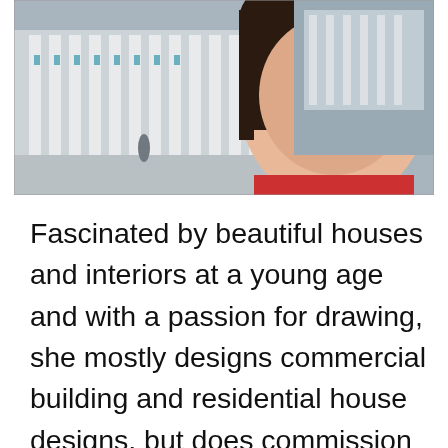[Figure (photo): Portrait photo of a smiling young Asian woman with dark hair, wearing a red top, with a building featuring white columns in the background.]
Fascinated by beautiful houses and interiors at a young age and with a passion for drawing, she mostly designs commercial building and residential house designs, but does commission work on space planning, and interior and conceptual design and drafting.  After seven years of employment, she decided to become a full-time freelancer